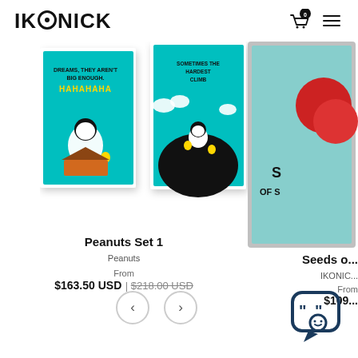[Figure (logo): IKONICK brand logo with stylized film reel dot in the letter I]
[Figure (illustration): Two Peanuts/Snoopy art prints on cyan background - left shows Snoopy on doghouse with Woodstock and text DREAMS THEY AREN'T BIG ENOUGH HAHAHAHA; right shows Snoopy climbing hill with Woodstock and text SOMETIMES THE HARDEST CLIMB]
[Figure (illustration): Partially visible Seeds of Success art print with red cherries on teal background, framed in silver]
Peanuts Set 1
Peanuts
From
$163.50 USD | $218.00 USD
Seeds o...
IKONIC...
From
$109...
[Figure (other): Previous/Next navigation arrows (< and >) in circular borders]
[Figure (other): Chat support widget icon - speech bubble with quotation marks and smiley face]